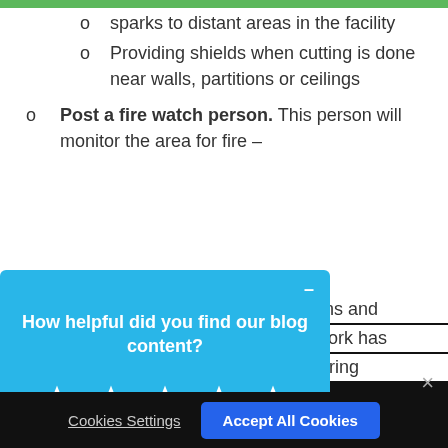sparks to distant areas in the facility
Providing shields when cutting is done near walls, partitions or ceilings
Post a fire watch person. This person will monitor the area for fire – [partially obscured] begins and [partially obscured] he work has [partially obscured]onitoring
[Figure (screenshot): Blue popup overlay asking 'How helpful did you find our blog content?' with five empty star rating icons, and a minimize button (–) in the top right corner.]
ou your r
Cookies Settings   Accept All Cookies